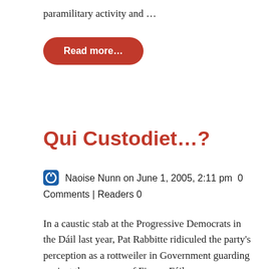paramilitary activity and …
Read more…
Qui Custodiet…?
Naoise Nunn on June 1, 2005, 2:11 pm  0 Comments | Readers 0
In a caustic stab at the Progressive Democrats in the Dáil last year, Pat Rabbitte ridiculed the party's perception as a rottweiler in Government guarding against the excesses of Fianna Fáil,